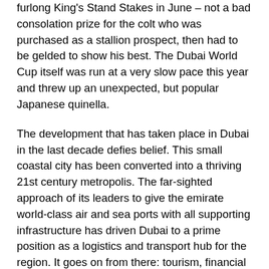furlong King's Stand Stakes in June – not a bad consolation prize for the colt who was purchased as a stallion prospect, then had to be gelded to show his best. The Dubai World Cup itself was run at a very slow pace this year and threw up an unexpected, but popular Japanese quinella.
The development that has taken place in Dubai in the last decade defies belief. This small coastal city has been converted into a thriving 21st century metropolis. The far-sighted approach of its leaders to give the emirate world-class air and sea ports with all supporting infrastructure has driven Dubai to a prime position as a logistics and transport hub for the region. It goes on from there: tourism, financial services, etc – all of world-class standard. It is difficult to comprehend that it is all built on desert and on land reclaimed from the sea.